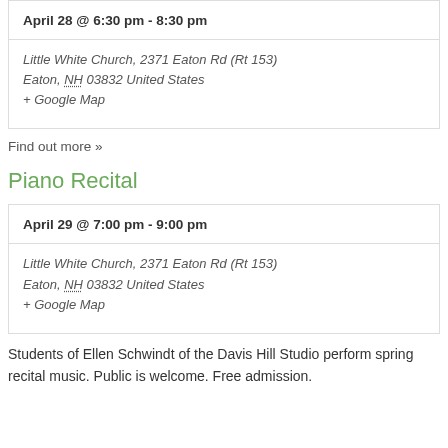April 28 @ 6:30 pm - 8:30 pm
Little White Church, 2371 Eaton Rd (Rt 153) Eaton, NH 03832 United States + Google Map
Find out more »
Piano Recital
April 29 @ 7:00 pm - 9:00 pm
Little White Church, 2371 Eaton Rd (Rt 153) Eaton, NH 03832 United States + Google Map
Students of Ellen Schwindt of the Davis Hill Studio perform spring recital music. Public is welcome. Free admission.